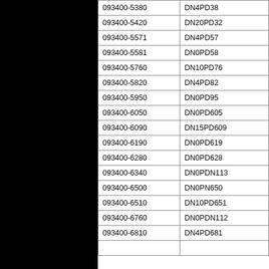| 093400-5380 | DN4PD38 |
| 093400-5420 | DN20PD32 |
| 093400-5571 | DN4PD57 |
| 093400-5581 | DN0PD58 |
| 093400-5760 | DN10PD76 |
| 093400-5820 | DN4PD82 |
| 093400-5950 | DN0PD95 |
| 093400-6050 | DN0PD605 |
| 093400-6090 | DN15PD609 |
| 093400-6190 | DN0PD619 |
| 093400-6280 | DN0PD628 |
| 093400-6340 | DN0PDN113 |
| 093400-6500 | DN0PN650 |
| 093400-6510 | DN10PD651 |
| 093400-6760 | DN0PDN112 |
| 093400-6810 | DN4PD681 |
|  |  |